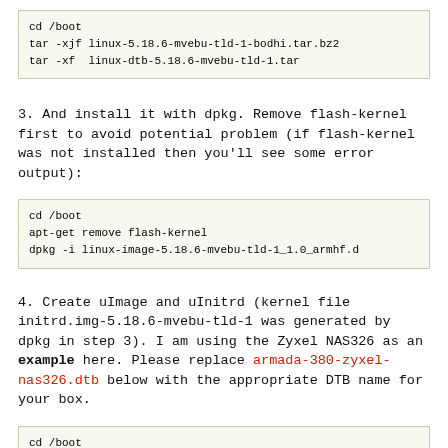[Figure (screenshot): Code block showing: cd /boot
tar -xjf linux-5.18.6-mvebu-tld-1-bodhi.tar.bz2
tar -xf  linux-dtb-5.18.6-mvebu-tld-1.tar]
3. And install it with dpkg. Remove flash-kernel first to avoid potential problem (if flash-kernel was not installed then you'll see some error output):
[Figure (screenshot): Code block showing: cd /boot
apt-get remove flash-kernel
dpkg -i linux-image-5.18.6-mvebu-tld-1_1.0_armhf.d...]
4. Create uImage and uInitrd (kernel file initrd.img-5.18.6-mvebu-tld-1 was generated by dpkg in step 3). I am using the Zyxel NAS326 as an example here. Please replace armada-380-zyxel-nas326.dtb below with the appropriate DTB name for your box.
[Figure (screenshot): Code block showing: cd /boot
cp -a zImage-5.18.6-mvebu-tld-1 zImage.fdt
...armada-380-zyxel-nas326.dtb... (truncated)]